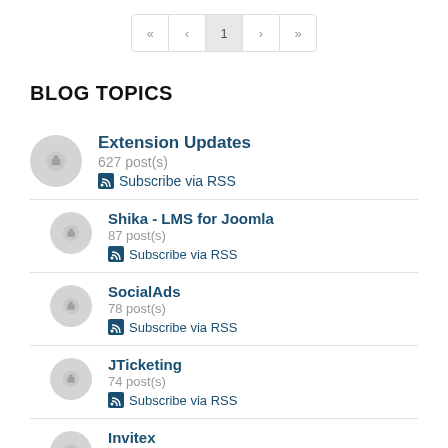<< < 1 > >>
BLOG TOPICS
Extension Updates
627 post(s)
Subscribe via RSS
Shika - LMS for Joomla
87 post(s)
Subscribe via RSS
SocialAds
78 post(s)
Subscribe via RSS
JTicketing
74 post(s)
Subscribe via RSS
Invitex